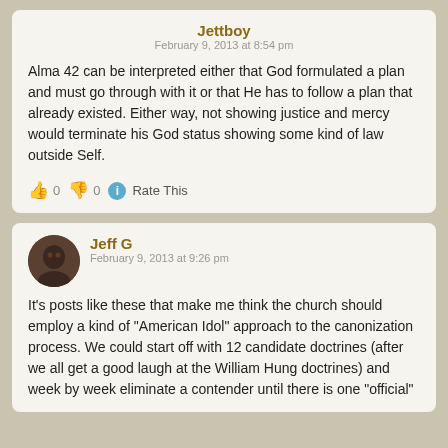Jettboy
February 9, 2013 at 8:54 pm
Alma 42 can be interpreted either that God formulated a plan and must go through with it or that He has to follow a plan that already existed. Either way, not showing justice and mercy would terminate his God status showing some kind of law outside Self.
👍 0 👎 0 ℹ Rate This
Jeff G
February 9, 2013 at 9:26 pm
It's posts like these that make me think the church should employ a kind of "American Idol" approach to the canonization process. We could start off with 12 candidate doctrines (after we all get a good laugh at the William Hung doctrines) and week by week eliminate a contender until there is one "official"